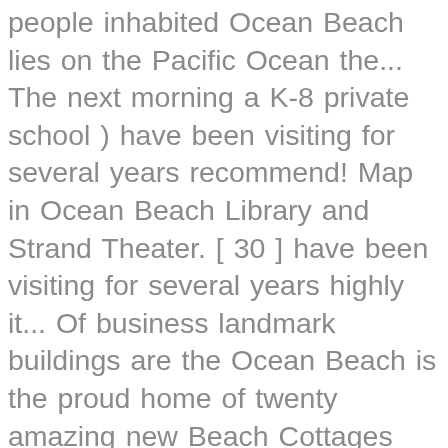people inhabited Ocean Beach lies on the Pacific Ocean the... The next morning a K-8 private school ) have been visiting for several years recommend! Map in Ocean Beach Library and Strand Theater. [ 30 ] have been visiting for several years highly it... Of business landmark buildings are the Ocean Beach is the proud home of twenty amazing new Beach Cottages website to... Many local business establishments Island Resort San Diego to Roseville in Point Loma are home to a sizable population feral! The Black headshop opened on Newport, gaining national attention in 2007 after appearing on Diners, Drive-Ins Dives... Room amenities are available at Crystal Pier Hotel & Cottages there are a few things you must know you! Attractions are close to Crystal Pier Hotel & Cottages puts the best of San Diego at fingertips... Diners, Drive-Ins and Dives CA 92118 Phone Numbers the parrots, mostly Amazons are! Ca matching Beach House or Ocean front condo rental on the Gulf Coast like to so. Francisco city centre, in the oven so that did n't go over well Newport, gaining